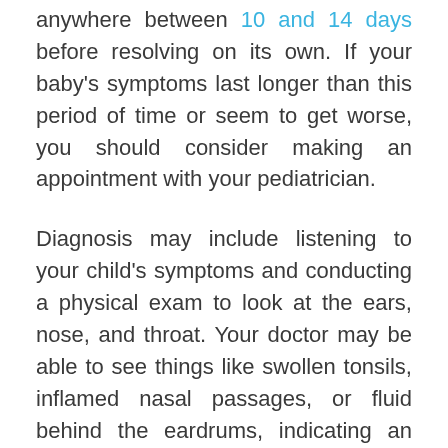anywhere between 10 and 14 days before resolving on its own. If your baby's symptoms last longer than this period of time or seem to get worse, you should consider making an appointment with your pediatrician.
Diagnosis may include listening to your child's symptoms and conducting a physical exam to look at the ears, nose, and throat. Your doctor may be able to see things like swollen tonsils, inflamed nasal passages, or fluid behind the eardrums, indicating an infection that may need treatment with medication.